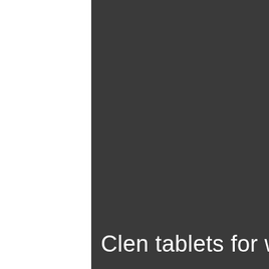[Figure (photo): Dark gray background panel covering most of the page, serving as a cover/title page backdrop.]
Clen tablets for weight loss